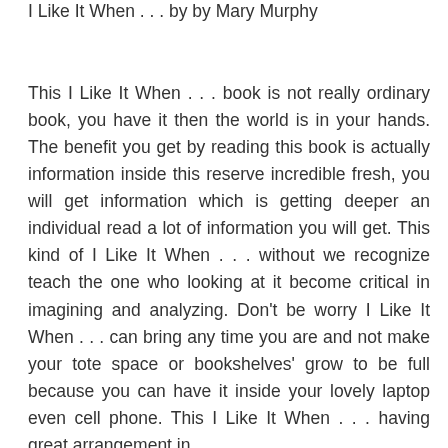I Like It When . . . by by Mary Murphy
This I Like It When . . . book is not really ordinary book, you have it then the world is in your hands. The benefit you get by reading this book is actually information inside this reserve incredible fresh, you will get information which is getting deeper an individual read a lot of information you will get. This kind of I Like It When . . . without we recognize teach the one who looking at it become critical in imagining and analyzing. Don’t be worry I Like It When . . . can bring any time you are and not make your tote space or bookshelves’ grow to be full because you can have it inside your lovely laptop even cell phone. This I Like It When . . . having great arrangement in